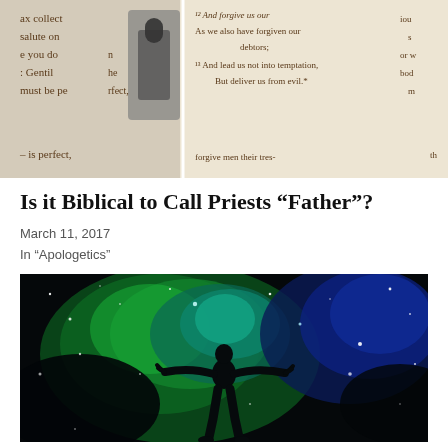[Figure (photo): Open Bible showing Matthew 6 text with Lord's Prayer verses, with a small lock or clip visible on the left side]
Is it Biblical to Call Priests “Father”?
March 11, 2017
In “Apologetics”
[Figure (photo): Silhouette of a person with arms outstretched against a vibrant green and blue cosmic nebula background with stars]
Can Faith Trust Reason?